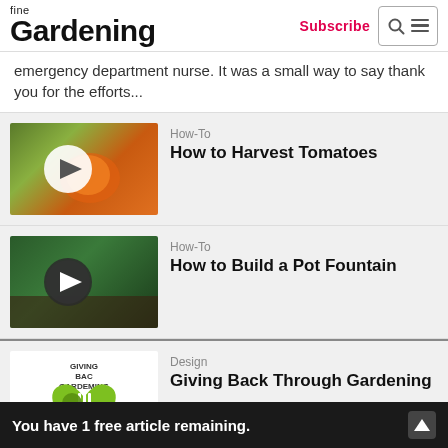fine Gardening — Subscribe
emergency department nurse. It was a small way to say thank you for the efforts...
How-To — How to Harvest Tomatoes
How-To — How to Build a Pot Fountain
Design — Giving Back Through Gardening
You have 1 free article remaining.